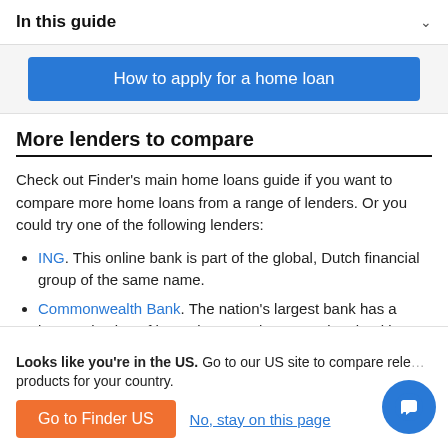In this guide
[Figure (other): Blue button: How to apply for a home loan]
More lenders to compare
Check out Finder's main home loans guide if you want to compare more home loans from a range of lenders. Or you could try one of the following lenders:
ING. This online bank is part of the global, Dutch financial group of the same name.
Commonwealth Bank. The nation's largest bank has a large selection of home loans and a convenient banking
Looks like you're in the US. Go to our US site to compare rele... products for your country.
[Figure (other): Orange button: Go to Finder US; Link: No, stay on this page; Chat bubble button]